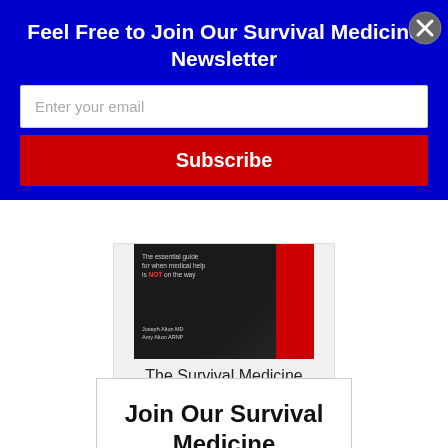Feel Free to Join Our Survival Medicine Newsletter
Enter your email
Subscribe
[Figure (photo): Book cover of The Survival Medicine Handbook Third Edition — dark cover with red stripe on the right, small text reading 'The essential guide for when medical help is NOT on the way', authors Joseph Alton MD, Amy Alton ARNP]
The Survival Medicine Handbook Third Edition
Join Our Survival Medicine Newsletter